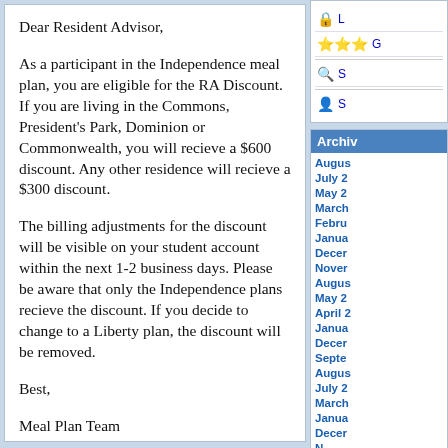Dear Resident Advisor,

As a participant in the Independence meal plan, you are eligible for the RA Discount. If you are living in the Commons, President's Park, Dominion or Commonwealth, you will recieve a $600 discount. Any other residence will recieve a $300 discount.

The billing adjustments for the discount will be visible on your student account within the next 1-2 business days. Please be aware that only the Independence plans recieve the discount. If you decide to change to a Liberty plan, the discount will be removed.

Best,

Meal Plan Team
[Figure (screenshot): Sidebar with icons for Login, Guest, Search, and Support links, followed by an Archives section listing monthly archive links.]